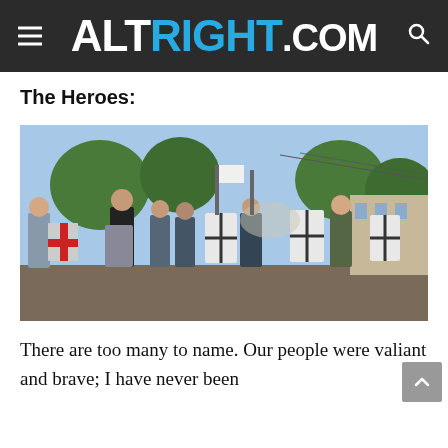ALTRIGHT.COM
The Heroes:
[Figure (photo): A crowd of people at a rally holding shields, some with red and white cross designs and others plain white with black cross markings. People are gathered outdoors on a street with trees and buildings visible in the background.]
There are too many to name. Our people were valiant and brave; I have never been